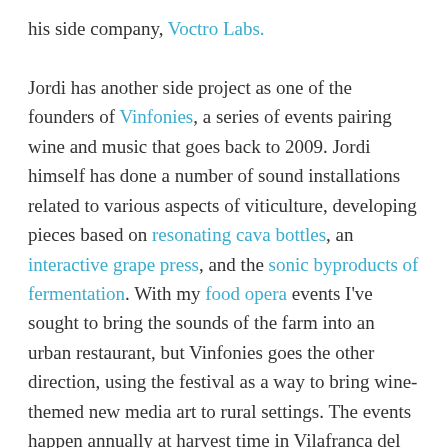his side company, Voctro Labs. Jordi has another side project as one of the founders of Vinfonies, a series of events pairing wine and music that goes back to 2009. Jordi himself has done a number of sound installations related to various aspects of viticulture, developing pieces based on resonating cava bottles, an interactive grape press, and the sonic byproducts of fermentation. With my food opera events I've sought to bring the sounds of the farm into an urban restaurant, but Vinfonies goes the other direction, using the festival as a way to bring wine-themed new media art to rural settings. The events happen annually at harvest time in Vilafranca del Penedès (part of the well-regarded Penedès winemaking region, one of Spain's sixty-five or so regions that have earned the Denominación de Origen appellation) about 50km from Barcelona. The festival includes concerts, sound installations, and wine tasting sessions. Similar to the work of